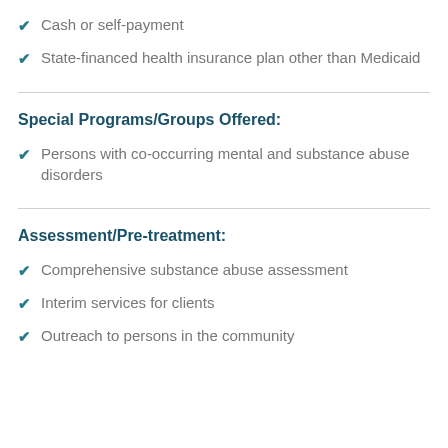Cash or self-payment
State-financed health insurance plan other than Medicaid
Special Programs/Groups Offered:
Persons with co-occurring mental and substance abuse disorders
Assessment/Pre-treatment:
Comprehensive substance abuse assessment
Interim services for clients
Outreach to persons in the community